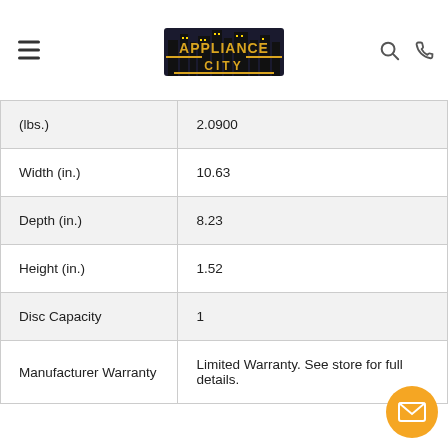Appliance City
| Attribute | Value |
| --- | --- |
| (lbs.) | 2.0900 |
| Width (in.) | 10.63 |
| Depth (in.) | 8.23 |
| Height (in.) | 1.52 |
| Disc Capacity | 1 |
| Manufacturer Warranty | Limited Warranty. See store for full details. |